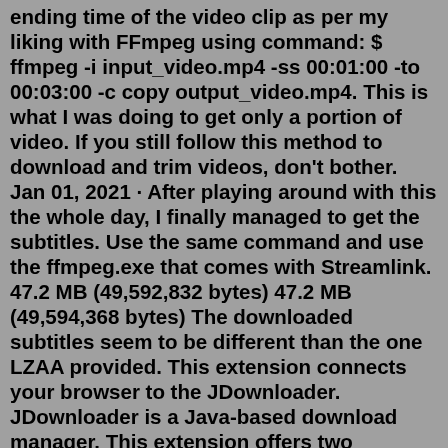ending time of the video clip as per my liking with FFmpeg using command: $ ffmpeg -i input_video.mp4 -ss 00:01:00 -to 00:03:00 -c copy output_video.mp4. This is what I was doing to get only a portion of video. If you still follow this method to download and trim videos, don't bother. Jan 01, 2021 · After playing around with this the whole day, I finally managed to get the subtitles. Use the same command and use the ffmpeg.exe that comes with Streamlink. 47.2 MB (49,592,832 bytes) 47.2 MB (49,594,368 bytes) The downloaded subtitles seem to be different than the one LZAA provided. This extension connects your browser to the JDownloader. JDownloader is a Java-based download manager. This extension offers two operation modes: 1. Sends downloading jobs from the right-click context menu 2. Interrupts the built-in download manager and redirects your requests to the JDownloader The interruption mode is not active by default. Jun 26, 2022 · Click on "Help" in the upper right corner --> About JDownloader * --> See screenshot: * in